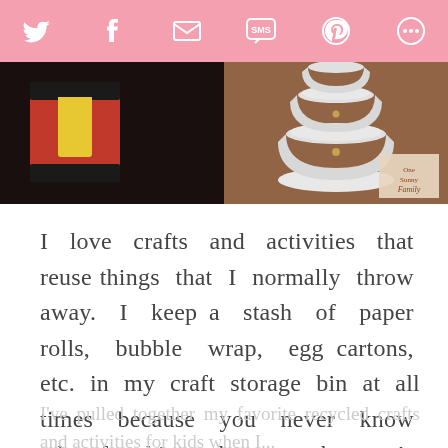Social media sharing icons: Twitter, Facebook, Email, SMS, Pinterest, More
[Figure (photo): Two craft photos side by side: left shows colorful felt craft pieces (red, black, yellow) on a dark background; right shows stacked white plastic cups with a small decorative logo reading 'Family' in the corner]
I love crafts and activities that reuse things that I normally throw away. I keep a stash of paper rolls, bubble wrap, egg cartons, etc. in my craft storage bin at all times because you never know what fun things they may become!
I've pulled together my favorite recycled crafts and activities for kids when I...